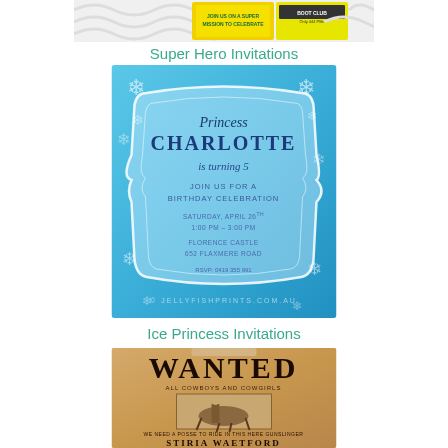[Figure (photo): Super Hero party invitation cards - two colorful invitation cards with yellow/green superhero theme, one reading 'Join us on a super mission to celebrate' and another showing party club details]
Super Hero Invitations
[Figure (photo): Ice Princess birthday invitation card with blue snowy/frozen background, snowflake decorations, ornate frame. Text reads: Princess Charlotte is turning 5. Join us for a birthday celebration. Saturday, April 26th 1:00 PM - 3:00 PM. Florence Castle, 652 Flaxmere Road. RSVP: 0419 355 991. Watermark: © JELLYFISHPRINTS.COM.AU]
Ice Princess Invitations
[Figure (photo): Wanted poster style cowboy/western birthday invitation. Brown aged paper background, bold 'WANTED' title, text 'All Cowboys and Cowgirls', photo of child on horseback, text 'We need a posse to ride in this here gunslinger', name 'Stiria Waetford', bottom text partially visible 'Chief Wrangler for turning 5']